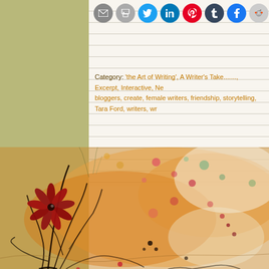[Figure (screenshot): Social sharing icon buttons row: email, print, Twitter, LinkedIn, Pinterest, Tumblr, Facebook, Reddit]
Category: 'the Art of Writing', A Writer's Take......., Excerpt, Interactive, Ne... bloggers, create, female writers, friendship, storytelling, Tara Ford, writers, wr...